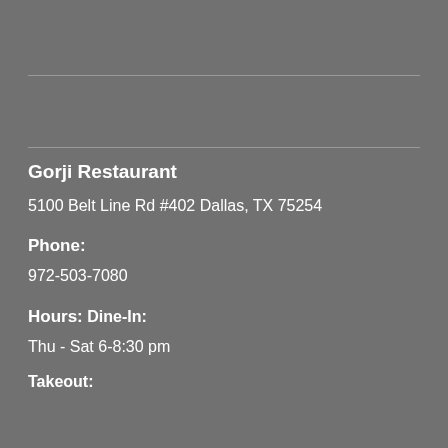Gorji Restaurant
5100 Belt Line Rd #402 Dallas, TX 75254
Phone:
972-503-7080
Hours:
Dine-In:
Thu - Sat  6-8:30 pm
Takeout: